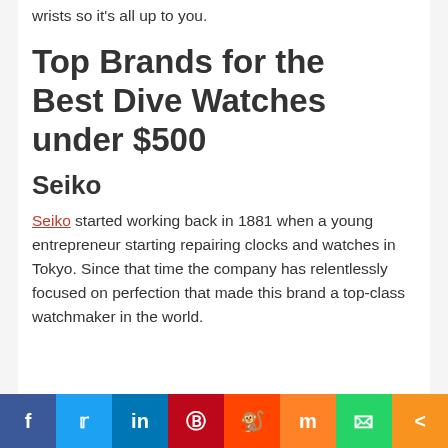wrists so it's all up to you.
Top Brands for the Best Dive Watches under $500
Seiko
Seiko started working back in 1881 when a young entrepreneur starting repairing clocks and watches in Tokyo. Since that time the company has relentlessly focused on perfection that made this brand a top-class watchmaker in the world.
Social share bar: Facebook, Twitter, LinkedIn, Pinterest, Reddit, Mix, WhatsApp, Share